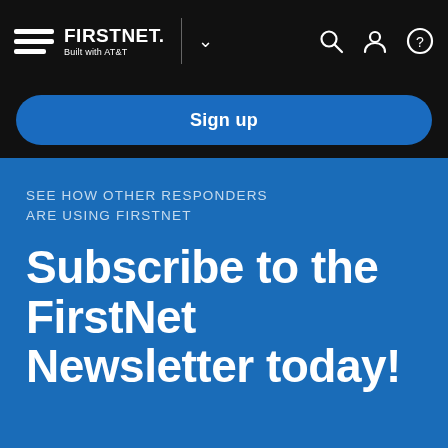[Figure (logo): FirstNet Built with AT&T navigation bar with hamburger menu icon, logo, dropdown chevron, search icon, user icon, and help icon on black background]
Sign up
SEE HOW OTHER RESPONDERS ARE USING FIRSTNET
Subscribe to the FirstNet Newsletter today!